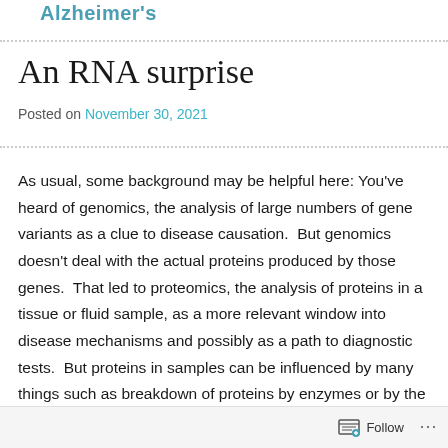Alzheimer's
An RNA surprise
Posted on November 30, 2021
As usual, some background may be helpful here: You've heard of genomics, the analysis of large numbers of gene variants as a clue to disease causation.  But genomics doesn't deal with the actual proteins produced by those genes.  That led to proteomics, the analysis of proteins in a tissue or fluid sample, as a more relevant window into disease mechanisms and possibly as a path to diagnostic tests.  But proteins in samples can be influenced by many things such as breakdown of proteins by enzymes or by the
Follow